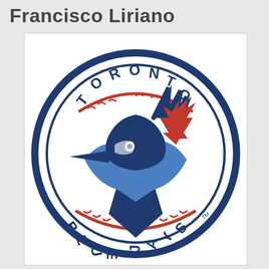Francisco Liriano
[Figure (logo): Toronto Blue Jays MLB team logo — circular logo with blue jay bird head, maple leaf, baseball, and text 'TORONTO BLUE JAYS' arranged around the circle]